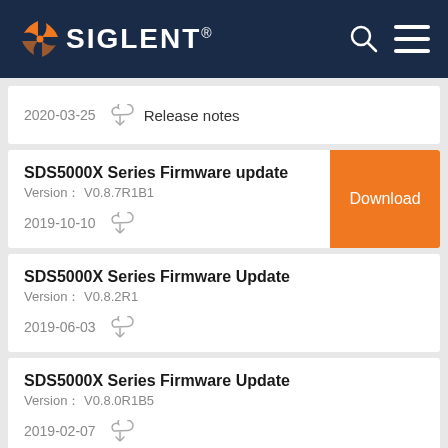[Figure (logo): SIGLENT logo with orange swirl icon on dark navy header bar with search and menu icons]
2020-03-25 Release notes
SDS5000X Series Firmware update
Version： V0.8.7R1B1
2019-10-10
Download
SDS5000X Series Firmware Update
Version： V0.8.2R1
2019-06-03
SDS5000X Series Firmware Update
Version： V0.8.0R1B5
2019-02-07